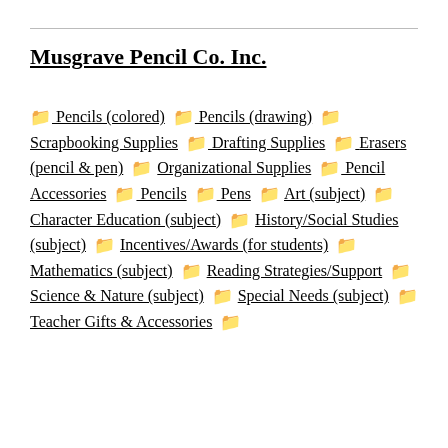Musgrave Pencil Co. Inc.
Pencils (colored)
Pencils (drawing)
Scrapbooking Supplies
Drafting Supplies
Erasers (pencil & pen)
Organizational Supplies
Pencil Accessories
Pencils
Pens
Art (subject)
Character Education (subject)
History/Social Studies (subject)
Incentives/Awards (for students)
Mathematics (subject)
Reading Strategies/Support
Science & Nature (subject)
Special Needs (subject)
Teacher Gifts & Accessories